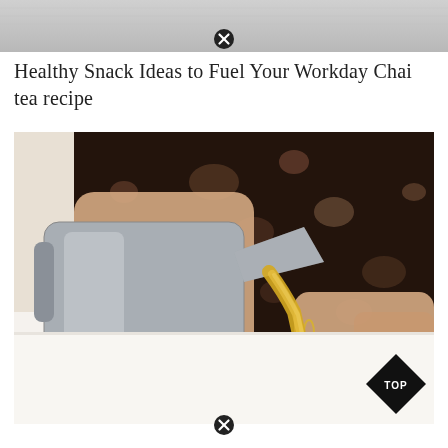[Figure (photo): Muted gray textured banner image at top of page with a close (X) button overlay]
Healthy Snack Ideas to Fuel Your Workday Chai tea recipe
[Figure (photo): A person wearing a dark floral-patterned top pouring golden yellow chai tea from a silver pitcher into a decorative teacup on a saucer, with a 'TOP' diamond badge in the bottom-right corner and a close (X) button at the bottom center]